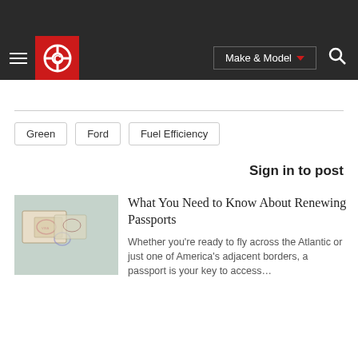[Figure (screenshot): Website navigation bar with hamburger menu, red logo with gear/C icon, Make & Model dropdown button with red arrow, and search icon, on dark background]
Green
Ford
Fuel Efficiency
Sign in to post
What You Need to Know About Renewing Passports
Whether you're ready to fly across the Atlantic or just one of America's adjacent borders, a passport is your key to access…